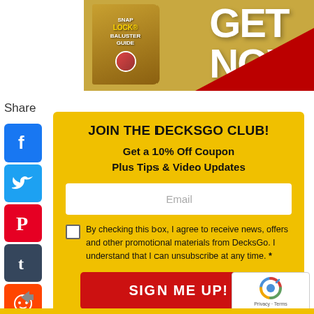[Figure (illustration): Top banner showing a book titled 'SNAP LOCK BALUSTER GUIDE' with a 'GET NOW' call-to-action in large white letters on a red swoosh background]
Share
[Figure (infographic): Column of social media share icons: Facebook, Twitter, Pinterest, Tumblr, Reddit, WhatsApp, Messenger]
JOIN THE DECKSGO CLUB!
Get a 10% Off Coupon
Plus Tips & Video Updates
Email
By checking this box, I agree to receive news, offers and other promotional materials from DecksGo. I understand that I can unsubscribe at any time. *
SIGN ME UP!